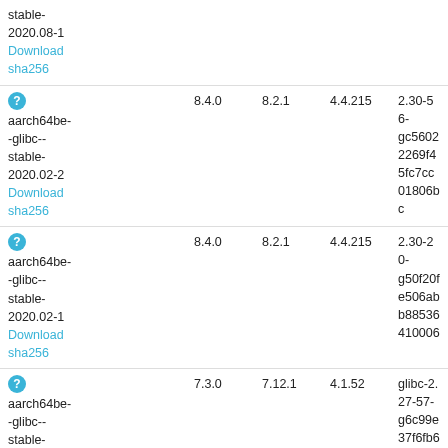| Name | GCC | GDB | Binutils | Hash |
| --- | --- | --- | --- | --- |
| stable-2020.08-1
Download sha256 |  |  |  |  |
| aarch64be--glibc--stable-2020.02-2
Download sha256 | 8.4.0 | 8.2.1 | 4.4.215 | 2.30-56-gc56022269f45fc7cc01806bc... |
| aarch64be--glibc--stable-2020.02-1
Download sha256 | 8.4.0 | 8.2.1 | 4.4.215 | 2.30-20-g50f20fe506abb8853641006... |
| aarch64be--glibc--stable-2018.11-1
Download | 7.3.0 | 7.12.1 | 4.1.52 | glibc-2.27-57-g6c99e37f6fb640a50a3113b... |